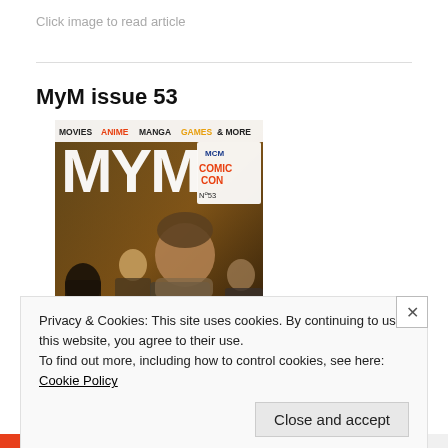Click image to read article
MyM issue 53
[Figure (illustration): Magazine cover of MyM issue 53. Shows 'MOVIES ANIME MANGA GAMES & MORE' at top. Large 'MyM' logo. MCM Comic Con branding, No.53. Characters from Kingsglaive: Final Fantasy XV. Text 'KINGSGLAIVE FINAL FANTASY XV' at bottom.]
Privacy & Cookies: This site uses cookies. By continuing to use this website, you agree to their use.
To find out more, including how to control cookies, see here: Cookie Policy
Close and accept